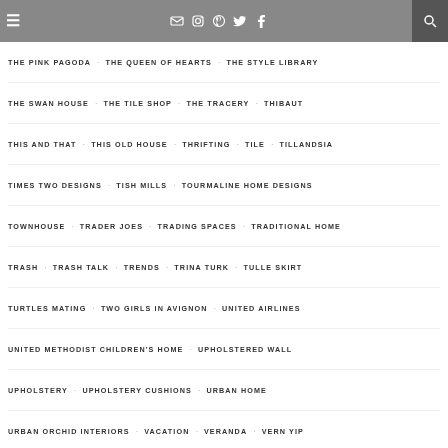THE PINK PAGODA  THE QUEEN OF HEARTS  THE STYLE LIBRARY
THE PINK PAGODA
THE QUEEN OF HEARTS
THE STYLE LIBRARY
THE SWAN HOUSE
THE TILE SHOP
THE TRACERY
THIBAUT
THIS AND THAT
THIS OLD HOUSE
THRIFTING
TILE
TILLANDSIA
TIMES TWO DESIGNS
TISH MILLS
TOURMALINE HOME DESIGNS
TOWNHOUSE
TRADER JOES
TRADING SPACES
TRADITIONAL HOME
TRASH
TRASH TALK
TRENDS
TRINA TURK
TULLE SKIRT
TURTLES MATING
TWO GIRLS IN AVIGNON
UNITED AIRLINES
UNITED METHODIST CHILDREN'S HOME
UPHOLSTERED WALL
UPHOLSTERY
UPHOLSTERY CUSHIONS
URBAN HOME
URBAN ORCHID INTERIORS
VACATION
VERANDA
VERN YIP
VERSATILE BLOGGER AWARD
VICTORIA LARSON
VICTORIA SANCHEZ INTERIORS
VIGNETTES
VINTAGE